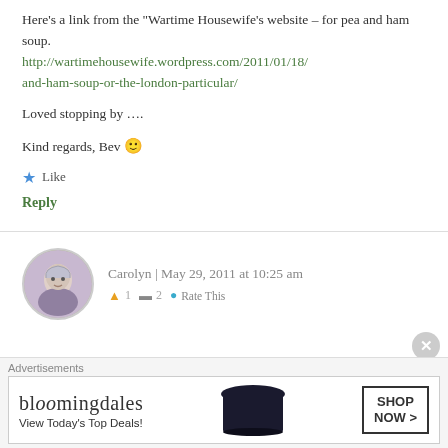Here’s a link from the “Wartime Housewife’s website – for pea and ham soup. http://wartimehousewife.wordpress.com/2011/01/18/and-ham-soup-or-the-london-particular/
Loved stopping by ....
Kind regards, Bev 🙂
Like
Reply
[Figure (photo): Circular avatar photo of a woman with gray/silver hair]
Carolyn | May 29, 2011 at 10:25 am
Advertisements
[Figure (infographic): Bloomingdale's advertisement banner: 'View Today's Top Deals!' with SHOP NOW > button]